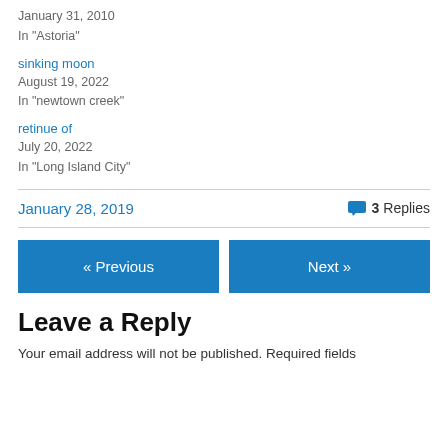January 31, 2010
In "Astoria"
sinking moon
August 19, 2022
In "newtown creek"
retinue of
July 20, 2022
In "Long Island City"
January 28, 2019   3 Replies
« Previous   Next »
Leave a Reply
Your email address will not be published. Required fields